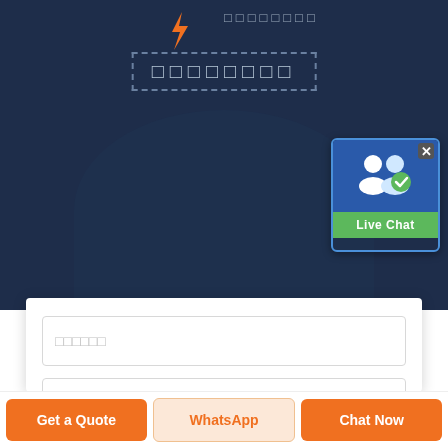[Figure (screenshot): Website screenshot showing a dark blue hero section with orange lightning bolt icon, text in box-outlined placeholder characters (rendered as squares), a Live Chat widget in top right corner, a white contact form with three input fields, and a bottom action bar with three buttons: Get a Quote, WhatsApp, Chat Now.]
▯▯▯▯▯▯▯▯ (hero line 1 - placeholder text)
▯▯▯▯▯▯▯▯ (hero line 2 - placeholder text in dashed border)
▯▯▯▯▯▯ (form field 1 placeholder)
▯▯▯▯E▯▯▯ (form field 2 placeholder)
▯▯▯▯▯▯ (form field 3 placeholder)
Get a Quote
WhatsApp
Chat Now